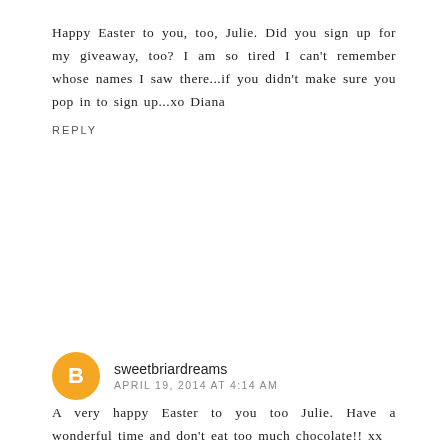Happy Easter to you, too, Julie. Did you sign up for my giveaway, too? I am so tired I can't remember whose names I saw there...if you didn't make sure you pop in to sign up...xo Diana
REPLY
[Figure (illustration): Orange circular avatar with letter B in white, representing a Blogger profile icon for user sweetbriardreams]
sweetbriardreams
APRIL 19, 2014 AT 4:14 AM
A very happy Easter to you too Julie. Have a wonderful time and don't eat too much chocolate!! xx